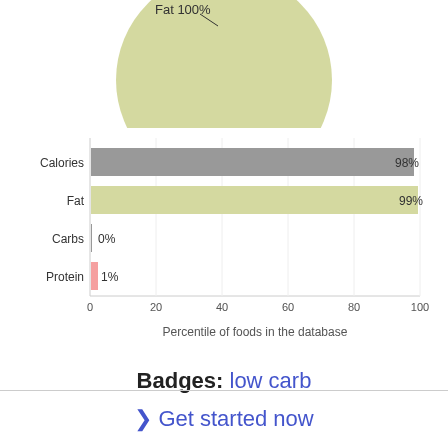[Figure (pie-chart): Macronutrient breakdown]
[Figure (bar-chart): Percentile of foods in the database]
Badges: low carb
❯ Get started now